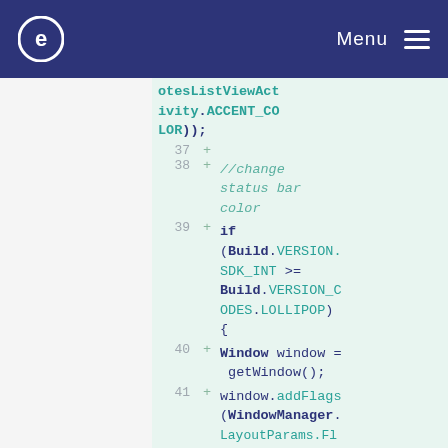e  Menu
[Figure (screenshot): Code snippet showing Java/Android code diff with line numbers 37-41, highlighting status bar color change using Build.VERSION.SDK_INT, Build.VERSION_CODES.LOLLIPOP, Window, getWindow(), window.addFlags, WindowManager.]
otesListViewActivity.ACCENT_COLOR));
37  +
38  +    //change status bar color
39  +        if (Build.VERSION.SDK_INT >= Build.VERSION_CODES.LOLLIPOP) {
40  +    Window window = getWindow();
41  +    window.addFlags(WindowManager.LayoutParams.Fl